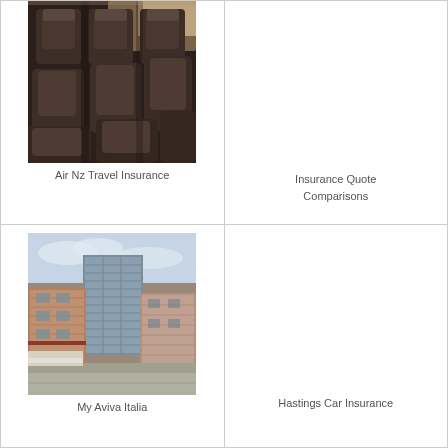[Figure (photo): Airplane interior showing rows of brown leather seats viewed from behind, with light coming through windows]
Air Nz Travel Insurance
Insurance Quote Comparisons
[Figure (photo): Urban cityscape with a tall modern glass office building surrounded by older brick buildings, with a road and overcast sky]
My Aviva Italia
Hastings Car Insurance